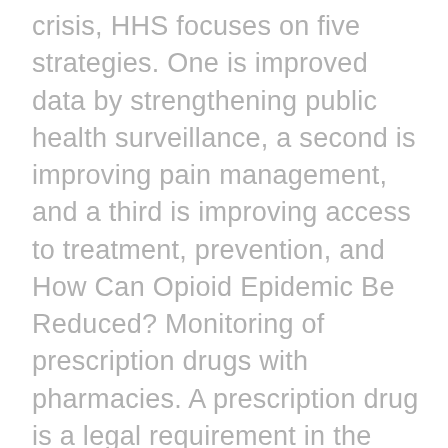crisis, HHS focuses on five strategies. One is improved data by strengthening public health surveillance, a second is improving pain management, and a third is improving access to treatment, prevention, and How Can Opioid Epidemic Be Reduced? Monitoring of prescription drugs with pharmacies. A prescription drug is a legal requirement in the state. Manage risk associated with insurance programs, such as prescription drug utilization. Take into account prior authorizations and quantity limits. Watch How Does Patient Volume Affect Patient Care In Opioid Addiction Video